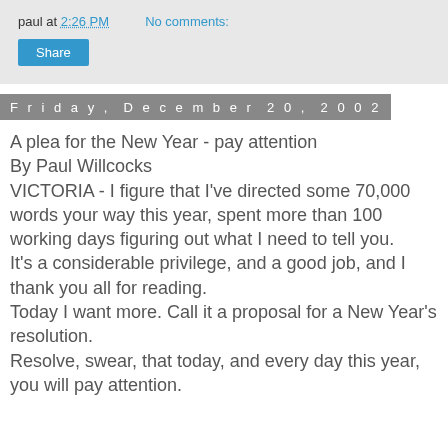paul at 2:26 PM    No comments:
Share
Friday, December 20, 2002
A plea for the New Year - pay attention
By Paul Willcocks
VICTORIA - I figure that I've directed some 70,000 words your way this year, spent more than 100 working days figuring out what I need to tell you.
It's a considerable privilege, and a good job, and I thank you all for reading.
Today I want more. Call it a proposal for a New Year's resolution.
Resolve, swear, that today, and every day this year, you will pay attention.